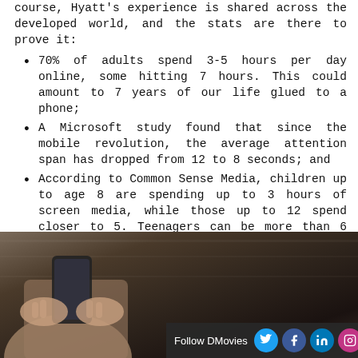course, Hyatt's experience is shared across the developed world, and the stats are there to prove it:
70% of adults spend 3-5 hours per day online, some hitting 7 hours. This could amount to 7 years of our life glued to a phone;
A Microsoft study found that since the mobile revolution, the average attention span has dropped from 12 to 8 seconds; and
According to Common Sense Media, children up to age 8 are spending up to 3 hours of screen media, while those up to 12 spend closer to 5. Teenagers can be more than 6 and even up to 9 hours.
[Figure (photo): Person holding a smartphone, dark background with marble-like texture. Follow DMovies social media bar at bottom right with Twitter, Facebook, LinkedIn, Instagram, YouTube icons.]